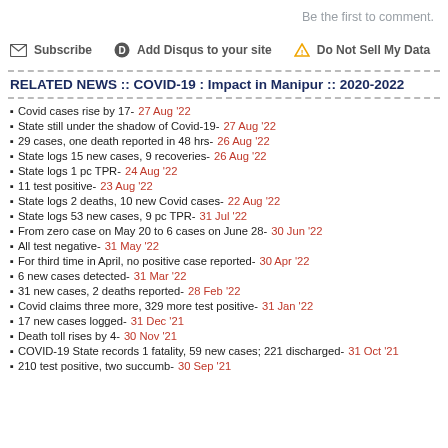Be the first to comment.
✉ Subscribe   D Add Disqus to your site   ⚠ Do Not Sell My Data
RELATED NEWS :: COVID-19 : Impact in Manipur :: 2020-2022
Covid cases rise by 17- 27 Aug '22
State still under the shadow of Covid-19- 27 Aug '22
29 cases, one death reported in 48 hrs- 26 Aug '22
State logs 15 new cases, 9 recoveries- 26 Aug '22
State logs 1 pc TPR- 24 Aug '22
11 test positive- 23 Aug '22
State logs 2 deaths, 10 new Covid cases- 22 Aug '22
State logs 53 new cases, 9 pc TPR- 31 Jul '22
From zero case on May 20 to 6 cases on June 28- 30 Jun '22
All test negative- 31 May '22
For third time in April, no positive case reported- 30 Apr '22
6 new cases detected- 31 Mar '22
31 new cases, 2 deaths reported- 28 Feb '22
Covid claims three more, 329 more test positive- 31 Jan '22
17 new cases logged- 31 Dec '21
Death toll rises by 4- 30 Nov '21
COVID-19 State records 1 fatality, 59 new cases; 221 discharged- 31 Oct '21
210 test positive, two succumb- 30 Sep '21